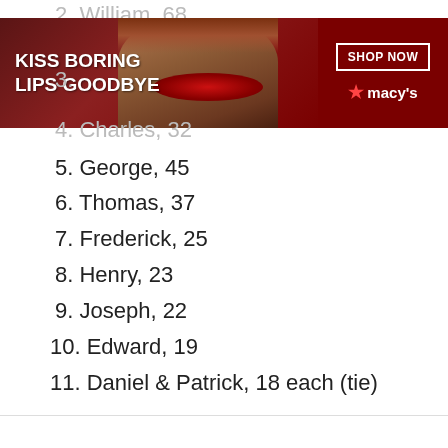2. William, 68
[Figure (screenshot): Macy's advertisement banner: 'KISS BORING LIPS GOODBYE' with photo of woman with red lips, SHOP NOW button and Macy's star logo on dark red background]
3.
4. Charles, 32
5. George, 45
6. Thomas, 37
7. Frederick, 25
8. Henry, 23
9. Joseph, 22
10. Edward, 19
11. Daniel & Patrick, 18 each (tie)
We use cookies on our website to give you the most relevant experience by remembering your preferences and repeat visits. By clicking “Accept”, you consent to the use of ALL the cookies.
Do not sell my personal information.
[Figure (screenshot): Macy's advertisement banner (second instance): 'KISS BORING LIPS GOODBYE' with photo of woman with red lips, SHOP NOW button and Macy's star logo on dark red background]